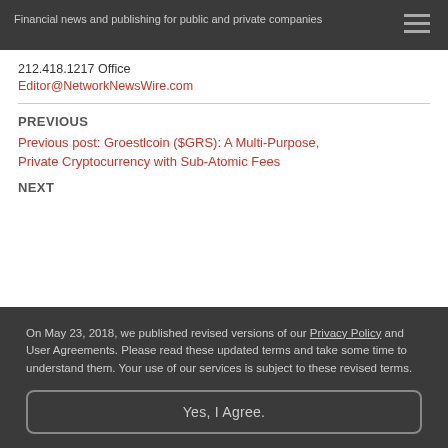Financial news and publishing for public and private companies
212.418.1217 Office
Editor@NetworkNewsWire.com
PREVIOUS
Previous post: Groestlcoin ($GRS): A Multi-Purpose, Private Cryptocurrency with Sub-Atomic Fees
NEXT
On May 23, 2018, we published revised versions of our Privacy Policy and User Agreements. Please read these updated terms and take some time to understand them. Your use of our services is subject to these revised terms.
Yes, I Agree.